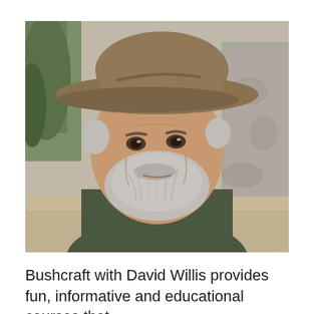[Figure (photo): Close-up portrait of an older man with a grey beard, wearing a tan/khaki wide-brimmed hat and a red bandana around his neck, smiling warmly. He is wearing a dark olive/green jacket. The background shows an outdoor desert or arid landscape setting with rocks and sparse vegetation.]
Bushcraft with David Willis provides fun, informative and educational courses that